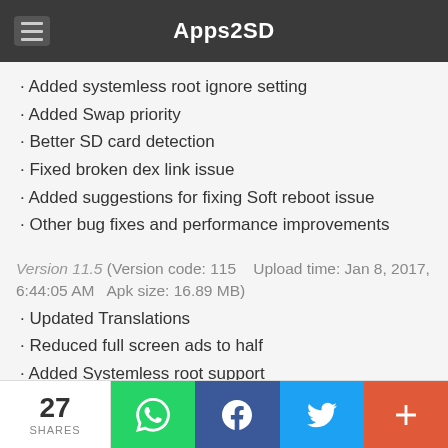Apps2SD
Added systemless root ignore setting
Added Swap priority
Better SD card detection
Fixed broken dex link issue
Added suggestions for fixing Soft reboot issue
Other bug fixes and performance improvements
Version 11.5 (Version code: 115    Upload time: Jan 8, 2017, 6:44:05 AM    Apk size: 16.89 MB)
Updated Translations
Reduced full screen ads to half
Added Systemless root support
27 SHARES